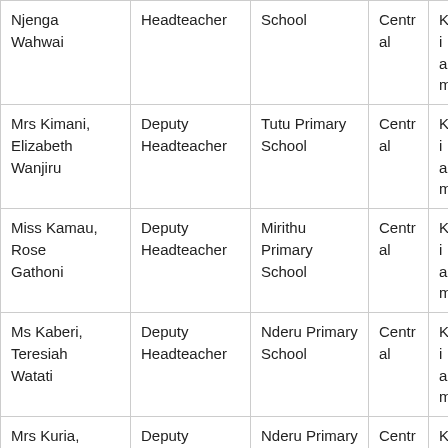| Njenga Wahwai | Headteacher | School | Central | Kiam |
| Mrs Kimani, Elizabeth Wanjiru | Deputy Headteacher | Tutu Primary School | Central | Kiam |
| Miss Kamau, Rose Gathoni | Deputy Headteacher | Mirithu Primary School | Central | Kiam |
| Ms Kaberi, Teresiah Watati | Deputy Headteacher | Nderu Primary School | Central | Kiam |
| Mrs Kuria, Serah Wanjiku | Deputy Headteacher | Nderu Primary School | Central | Kiam |
| Mrs Nganga, Eunice Wanjiru | Deputy Headteacher | Gatuura Primary School | Central | Kiam |
| Miss |  |  |  |  |